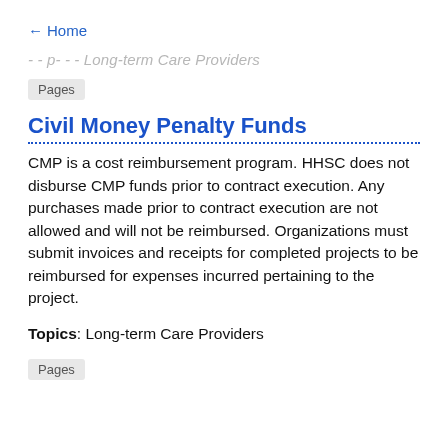← Home
- - p - - - Long-term Care Providers
Pages
Civil Money Penalty Funds
CMP is a cost reimbursement program. HHSC does not disburse CMP funds prior to contract execution. Any purchases made prior to contract execution are not allowed and will not be reimbursed. Organizations must submit invoices and receipts for completed projects to be reimbursed for expenses incurred pertaining to the project.
Topics: Long-term Care Providers
Pages